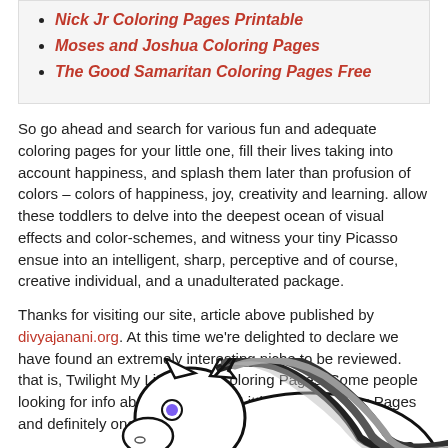Nick Jr Coloring Pages Printable
Moses and Joshua Coloring Pages
The Good Samaritan Coloring Pages Free
So go ahead and search for various fun and adequate coloring pages for your little one, fill their lives taking into account happiness, and splash them later than profusion of colors – colors of happiness, joy, creativity and learning. allow these toddlers to delve into the deepest ocean of visual effects and color-schemes, and witness your tiny Picasso ensue into an intelligent, sharp, perceptive and of course, creative individual, and a unadulterated package.
Thanks for visiting our site, article above published by divyajanani.org. At this time we're delighted to declare we have found an extremely interesting niche to be reviewed. that is, Twilight My Little Pony Coloring Pages. Some people looking for info about Twilight My Little Pony Coloring Pages and definitely one of these is you, is not it?
[Figure (illustration): Partial illustration of a My Little Pony character (Twilight) coloring page, showing the head and mane area in black and white with gray shading, cropped at the bottom of the page.]